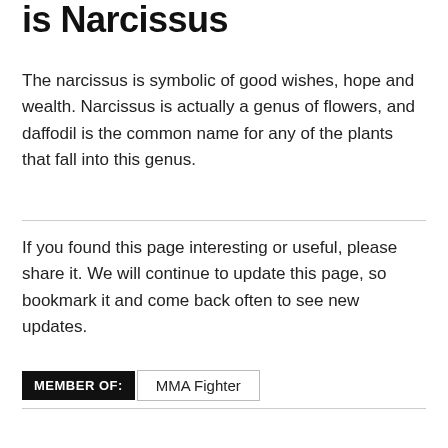is Narcissus
The narcissus is symbolic of good wishes, hope and wealth. Narcissus is actually a genus of flowers, and daffodil is the common name for any of the plants that fall into this genus.
If you found this page interesting or useful, please share it. We will continue to update this page, so bookmark it and come back often to see new updates.
MEMBER OF:  MMA Fighter